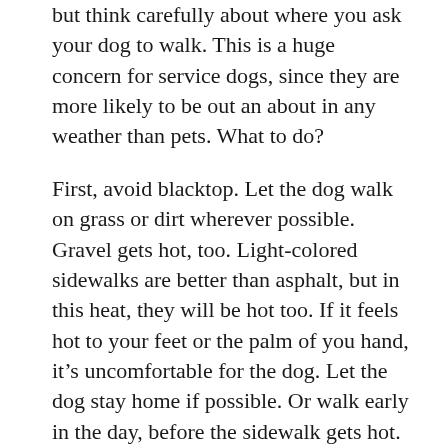but think carefully about where you ask your dog to walk. This is a huge concern for service dogs, since they are more likely to be out an about in any weather than pets. What to do?
First, avoid blacktop. Let the dog walk on grass or dirt wherever possible. Gravel gets hot, too. Light-colored sidewalks are better than asphalt, but in this heat, they will be hot too. If it feels hot to your feet or the palm of you hand, it's uncomfortable for the dog. Let the dog stay home if possible. Or walk early in the day, before the sidewalk gets hot.
A recent discussion on a service dog email list settled on two possible solutions for dogs who must go out on hot days: booties and paw-